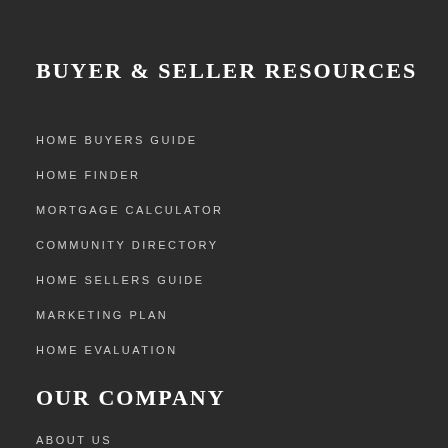BUYER & SELLER RESOURCES
HOME BUYERS GUIDE
HOME FINDER
MORTGAGE CALCULATOR
COMMUNITY DIRECTORY
HOME SELLERS GUIDE
MARKETING PLAN
HOME EVALUATION
OUR COMPANY
ABOUT US